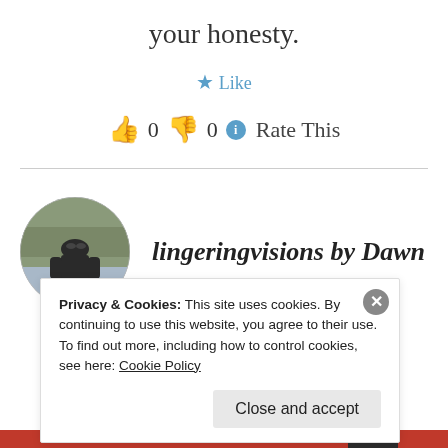your honesty.
★ Like
👍 0 👎 0 ℹ Rate This
[Figure (photo): Circular avatar photo of a person (woman in sunglasses) against a rocky outdoor background]
lingeringvisions by Dawn
FEBRUARY 26, 2014 AT 6:22 PM
Privacy & Cookies: This site uses cookies. By continuing to use this website, you agree to their use.
To find out more, including how to control cookies, see here: Cookie Policy